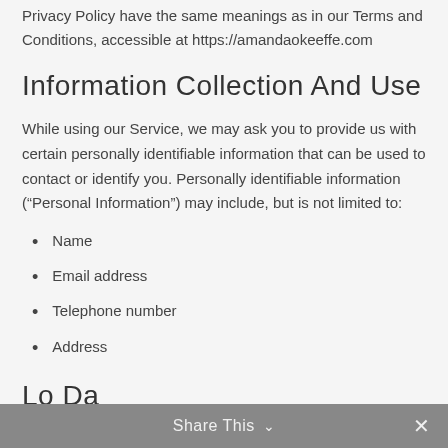Privacy Policy have the same meanings as in our Terms and Conditions, accessible at https://amandaokeeffe.com
Information Collection And Use
While using our Service, we may ask you to provide us with certain personally identifiable information that can be used to contact or identify you. Personally identifiable information (“Personal Information”) may include, but is not limited to:
Name
Email address
Telephone number
Address
Share This ∨  ×